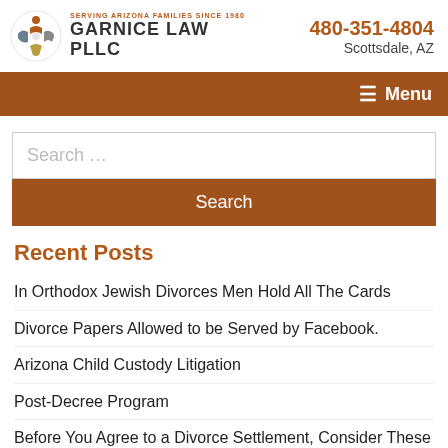[Figure (logo): Garnice Law PLLC logo with circular icon of figures and text 'SERVING ARIZONA FAMILIES SINCE 1980 GARNICE LAW PLLC']
480-351-4804
Scottsdale, AZ
☰ Menu
Search …
Search
Recent Posts
In Orthodox Jewish Divorces Men Hold All The Cards
Divorce Papers Allowed to be Served by Facebook.
Arizona Child Custody Litigation
Post-Decree Program
Before You Agree to a Divorce Settlement, Consider These Issues
Our Offi…